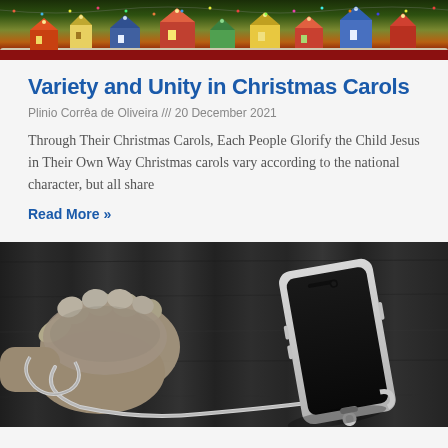[Figure (photo): Christmas village scene with colorful miniature buildings, lights, and decorations on a red background]
Variety and Unity in Christmas Carols
Plinio Corrêa de Oliveira /// 20 December 2021
Through Their Christmas Carols, Each People Glorify the Child Jesus in Their Own Way Christmas carols vary according to the national character, but all share
Read More »
[Figure (photo): Black and white photo of hands tied with a phone charging cable on a wooden table, with a white smartphone nearby]